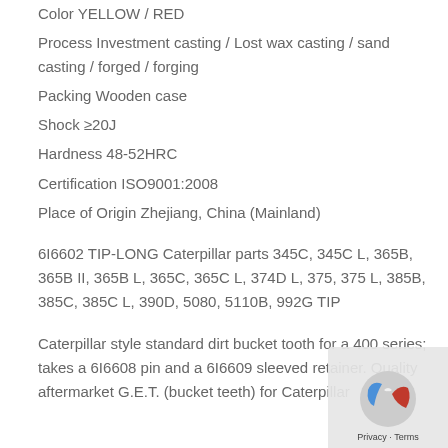Color YELLOW / RED
Process  Investment casting / Lost wax casting / sand casting / forged / forging
Packing Wooden case
Shock ≥20J
Hardness 48-52HRC
Certification ISO9001:2008
Place of Origin Zhejiang, China (Mainland)
6I6602 TIP-LONG Caterpillar parts 345C, 345C L, 365B, 365B II, 365B L, 365C, 365C L, 374D L, 375, 375 L, 385B, 385C, 385C L, 390D, 5080, 5110B, 992G TIP
Caterpillar style standard dirt bucket tooth for a 400 series; takes a 6I6608 pin and a 6I6609 sleeved retainer. Quality aftermarket G.E.T. (bucket teeth) for Caterpillar